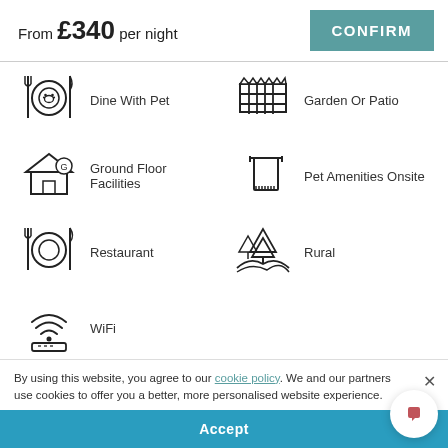From £340 per night
CONFIRM
Dine With Pet
Garden Or Patio
Ground Floor Facilities
Pet Amenities Onsite
Restaurant
Rural
WiFi
By using this website, you agree to our cookie policy. We and our partners use cookies to offer you a better, more personalised website experience.
Accept